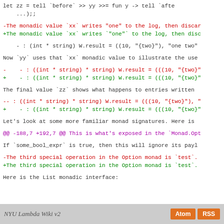let zz = tell `before` >> yy >>= fun y -> tell `afte
    ...);;
-The monadic value `xx` writes "one" to the log, then discar
+The monadic value `xx` writes `"one"` to the log, then disc
- : (int * string) W.result = ((10, "{two}"), "one two"
Now `yy` uses that `xx` monadic value to illustrate the use
-    - : ((int * string) * string) W.result = (((10, "{two}"
+    - : ((int * string) * string) W.result = (((10, "{two}"
The final value `zz` shows what happens to entries written
-- : ((int * string) * string) W.result = (((10, "{two}"), "
+    - : ((int * string) * string) W.result = (((10, "{two}"
Let's look at some more familiar monad signatures. Here is
@@ -188,7 +192,7 @@ This is what's exposed in the `Monad.Opt
If `some_bool_expr` is true, then this will ignore its payl
-The third special operation in the Option monad is `test`.
+The third special operation in the Option monad is `test`.
Here is the List monadic interface:
NYU Lambda Wiki v2   Atom  RSS